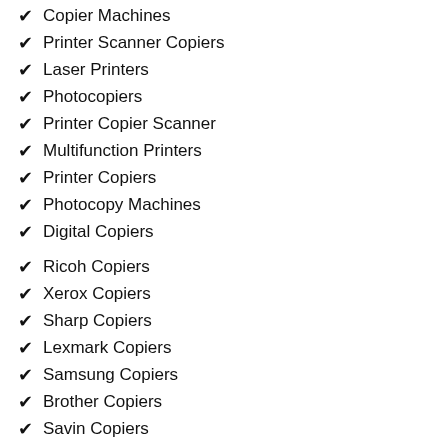Copier Machines
Printer Scanner Copiers
Laser Printers
Photocopiers
Printer Copier Scanner
Multifunction Printers
Printer Copiers
Photocopy Machines
Digital Copiers
Ricoh Copiers
Xerox Copiers
Sharp Copiers
Lexmark Copiers
Samsung Copiers
Brother Copiers
Savin Copiers
Konica Minolta Copiers
Kyocera Copiers
Lanier Copiers